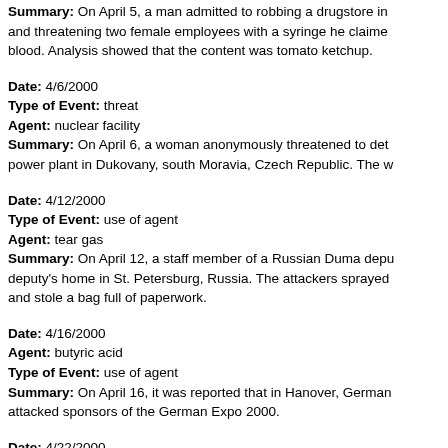Summary: On April 5, a man admitted to robbing a drugstore in and threatening two female employees with a syringe he claimed blood. Analysis showed that the content was tomato ketchup.
Date: 4/6/2000
Type of Event: threat
Agent: nuclear facility
Summary: On April 6, a woman anonymously threatened to det power plant in Dukovany, south Moravia, Czech Republic. The w
Date: 4/12/2000
Type of Event: use of agent
Agent: tear gas
Summary: On April 12, a staff member of a Russian Duma depu deputy's home in St. Petersburg, Russia. The attackers sprayed and stole a bag full of paperwork.
Date: 4/16/2000
Agent: butyric acid
Type of Event: use of agent
Summary: On April 16, it was reported that in Hanover, German attacked sponsors of the German Expo 2000.
Date: 4/22/2000
Type of Event: use of agent
Agent: tear gas
Summary: On April 22, during protests against the federal raid...